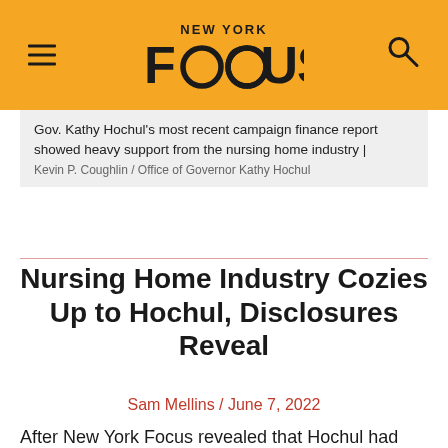NEW YORK FOCUS
Gov. Kathy Hochul's most recent campaign finance report showed heavy support from the nursing home industry | Kevin P. Coughlin / Office of Governor Kathy Hochul
Nursing Home Industry Cozies Up to Hochul, Disclosures Reveal
Sam Mellins / June 7, 2022
After New York Focus revealed that Hochul had failed to disclose the individuals